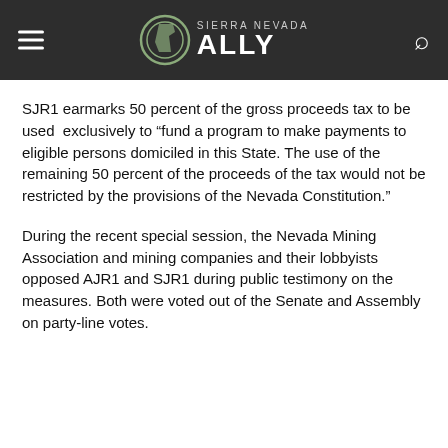Sierra Nevada Ally
SJR1 earmarks 50 percent of the gross proceeds tax to be used exclusively to “fund a program to make payments to eligible persons domiciled in this State. The use of the remaining 50 percent of the proceeds of the tax would not be restricted by the provisions of the Nevada Constitution.”
During the recent special session, the Nevada Mining Association and mining companies and their lobbyists opposed AJR1 and SJR1 during public testimony on the measures. Both were voted out of the Senate and Assembly on party-line votes.